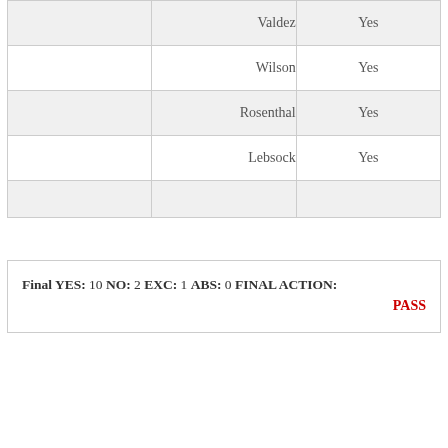|  | Name | Vote |
| --- | --- | --- |
|  | Valdez | Yes |
|  | Wilson | Yes |
|  | Rosenthal | Yes |
|  | Lebsock | Yes |
|  |  |  |
Final YES: 10 NO: 2 EXC: 1 ABS: 0 FINAL ACTION: PASS